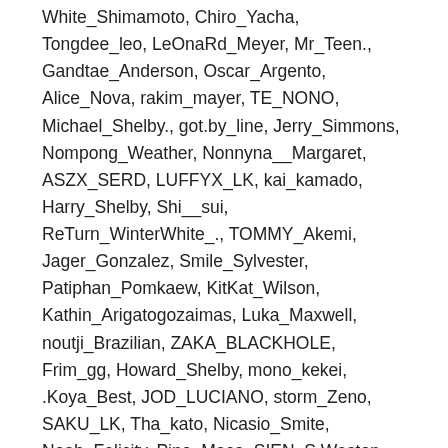White_Shimamoto, Chiro_Yacha, Tongdee_leo, LeOnaRd_Meyer, Mr_Teen., Gandtae_Anderson, Oscar_Argento, Alice_Nova, rakim_mayer, TE_NONO, Michael_Shelby., got.by_line, Jerry_Simmons, Nompong_Weather, Nonnyna__Margaret, ASZX_SERD, LUFFYX_LK, kai_kamado, Harry_Shelby, Shi__sui, ReTurn_WinterWhite_., TOMMY_Akemi, Jager_Gonzalez, Smile_Sylvester, Patiphan_Pomkaew, KitKat_Wilson, Kathin_Arigatogozaimas, Luka_Maxwell, noutji_Brazilian, ZAKA_BLACKHOLE, Frim_gg, Howard_Shelby, mono_kekei, .Koya_Best, JOD_LUCIANO, storm_Zeno, SAKU_LK, Tha_kato, Nicasio_Smite, Noah_Felicity, Pino_Maco, SIEN_S.Weston, Boom_Buu, Disme_Cascio, Leon_Howdy, B129_B129, Nick_Max, Renny_Powell, Scot_Sebastian, Vonsa__korn, ibo_kiki, Gamsai_Cooperz, wunway_Zono_FA_TA